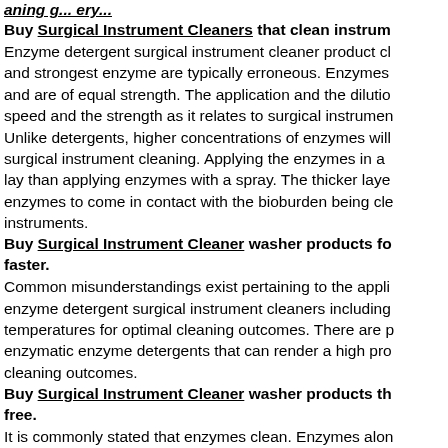aning g... ery...
Buy Surgical Instrument Cleaners that clean instrum
Enzyme detergent surgical instrument cleaner product cl and strongest enzyme are typically erroneous. Enzymes and are of equal strength. The application and the dilutio speed and the strength as it relates to surgical instrumen Unlike detergents, higher concentrations of enzymes will surgical instrument cleaning. Applying the enzymes in a lay than applying enzymes with a spray. The thicker laye enzymes to come in contact with the bioburden being cle instruments.
Buy Surgical Instrument Cleaner washer products fo faster.
Common misunderstandings exist pertaining to the appli enzyme detergent surgical instrument cleaners including temperatures for optimal cleaning outcomes. There are p enzymatic enzyme detergents that can render a high pro cleaning outcomes.
Buy Surgical Instrument Cleaner washer products th free.
It is commonly stated that enzymes clean. Enzymes alon primary function of enzymes is to break down soil, usuall